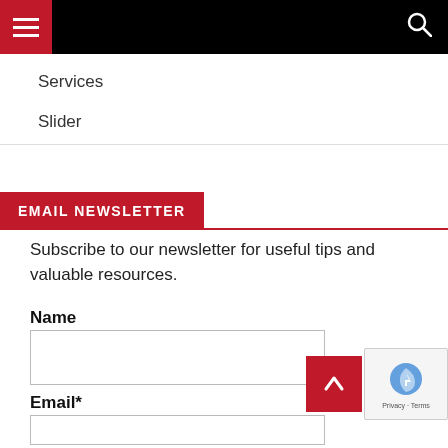Navigation bar with hamburger menu and search icon
Services
Slider
EMAIL NEWSLETTER
Subscribe to our newsletter for useful tips and valuable resources.
Name
Email*